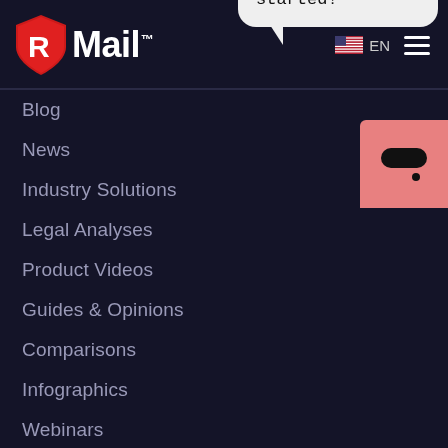RMail™
Blog
News
Industry Solutions
Legal Analyses
Product Videos
Guides & Opinions
Comparisons
Infographics
Webinars
Solutions
Apps
Pricing
Hi, I'm here to help, Let's get started!
[Figure (other): Chat widget button with pill icon on pink/salmon background]